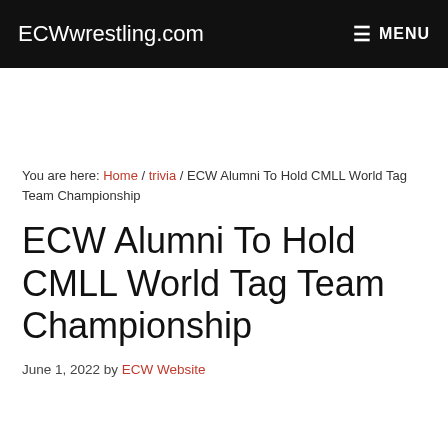ECWwrestling.com   ☰ MENU
You are here: Home / trivia / ECW Alumni To Hold CMLL World Tag Team Championship
ECW Alumni To Hold CMLL World Tag Team Championship
June 1, 2022 by ECW Website